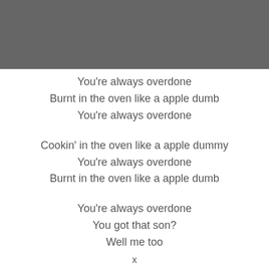You're always overdone
Burnt in the oven like a apple dumb
You're always overdone
Cookin' in the oven like a apple dummy
You're always overdone
Burnt in the oven like a apple dumb
You're always overdone
You got that son?
Well me too
x